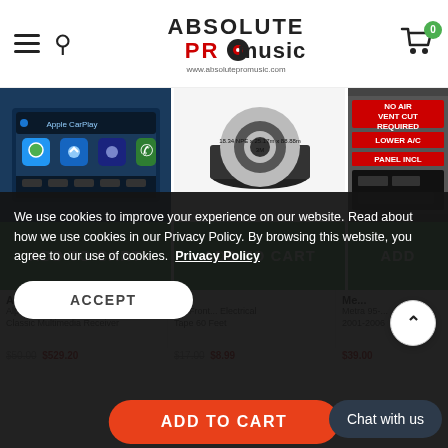Absolute Pro Music - www.absolutepromusic.com
[Figure (screenshot): Alpine car multimedia receiver with Apple CarPlay screen shown (blue UI)]
[Figure (photo): 3M electrical tape spool on black base]
[Figure (photo): Metra dash kit panel with text: NO AIR VENT CUT REQUIRED, LOWER A/C PANEL INCL]
ADD TO CART
ADD TO CART
ADD
Alpine
3M
Me...
Alpine iLX ... Single DIN Classic Multimedia Receiver
3M Front ... Electrical Tape 60 Feet
Metra 95-... 2001-2006
$50.00  $529.20
$17.00  $8.99
$39.00
We use cookies to improve your experience on our website. Read about how we use cookies in our Privacy Policy. By browsing this website, you agree to our use of cookies.  Privacy Policy
ACCEPT
ADD TO CART
Chat with us